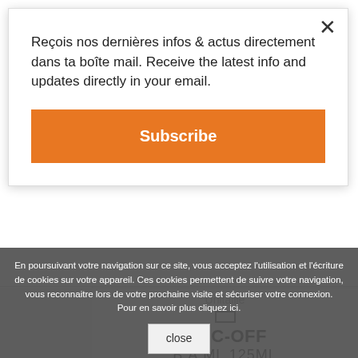Reçois nos dernières infos & actus directement dans ta boîte mail. Receive the latest info and updates directly in your email.
Subscribe
Unitaille
MUC-OFF
B.A.ML 125ML
En poursuivant votre navigation sur ce site, vous acceptez l'utilisation et l'écriture de cookies sur votre appareil. Ces cookies permettent de suivre votre navigation, vous reconnaitre lors de votre prochaine visite et sécuriser votre connexion. Pour en savoir plus cliquez ici.
close